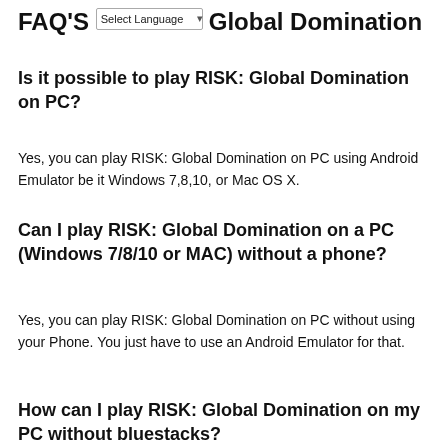FAQ'S RISK: Global Domination
Is it possible to play RISK: Global Domination on PC?
Yes, you can play RISK: Global Domination on PC using Android Emulator be it Windows 7,8,10, or Mac OS X.
Can I play RISK: Global Domination on a PC (Windows 7/8/10 or MAC) without a phone?
Yes, you can play RISK: Global Domination on PC without using your Phone. You just have to use an Android Emulator for that.
How can I play RISK: Global Domination on my PC without bluestacks?